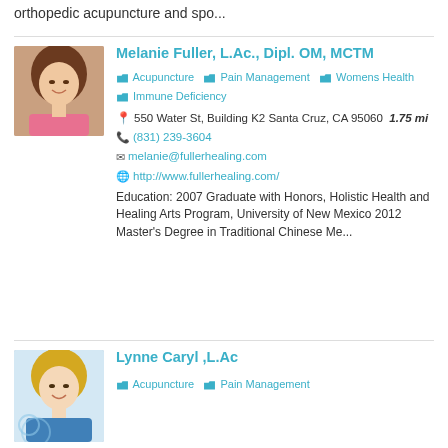orthopedic acupuncture and spo...
[Figure (photo): Photo of Melanie Fuller, a woman with brown hair wearing a pink top, smiling]
Melanie Fuller, L.Ac., Dipl. OM, MCTM
Acupuncture  Pain Management  Womens Health  Immune Deficiency
550 Water St, Building K2 Santa Cruz, CA 95060   1.75 mi
(831) 239-3604
melanie@fullerhealing.com
http://www.fullerhealing.com/
Education: 2007 Graduate with Honors, Holistic Health and Healing Arts Program, University of New Mexico 2012 Master's Degree in Traditional Chinese Me...
[Figure (photo): Photo of Lynne Caryl, a woman with blonde hair wearing a blue top, smiling]
Lynne Caryl ,L.Ac
Acupuncture  Pain Management